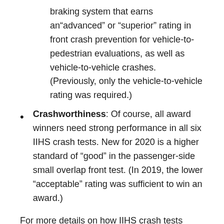braking system that earns an“advanced” or “superior” rating in front crash prevention for vehicle-to-pedestrian evaluations, as well as vehicle-to-vehicle crashes. (Previously, only the vehicle-to-vehicle rating was required.)
Crashworthiness: Of course, all award winners need strong performance in all six IIHS crash tests. New for 2020 is a higher standard of “good” in the passenger-side small overlap front test. (In 2019, the lower “acceptable” rating was sufficient to win an award.)
For more details on how IIHS crash tests work (and what they look for), visit the safety ratings page on the IIHS website.